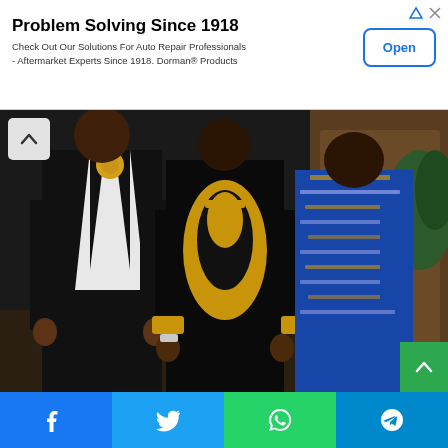[Figure (infographic): Advertisement banner: 'Problem Solving Since 1918' with subtext 'Check Out Our Solutions For Auto Repair Professionals - Aftermarket Experts Since 1918. Dorman® Products' and an Open button]
[Figure (photo): Three people in elaborate costumes from Coming 2 America movie. Left person in black and white formal wear with lion brooch, center person in black outfit with gold African dashiki embroidery, right person in blue African print dress with gold patterns]
Leslie Jones plays Eddie Murphy's Prince Akeem's son in Coming2America
Fashion Overdone
When it comes to fashion, the costumes also seemed to be all
[Figure (infographic): Social sharing bar with Facebook, Twitter, WhatsApp, and Telegram buttons]